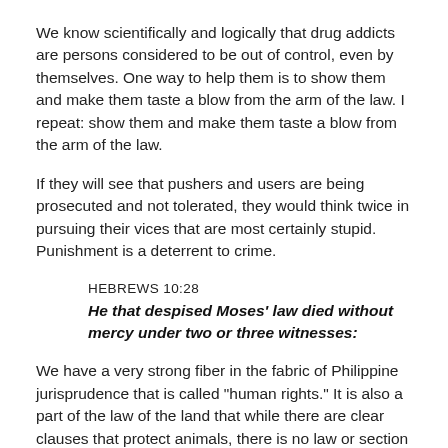We know scientifically and logically that drug addicts are persons considered to be out of control, even by themselves. One way to help them is to show them and make them taste a blow from the arm of the law. I repeat: show them and make them taste a blow from the arm of the law.
If they will see that pushers and users are being prosecuted and not tolerated, they would think twice in pursuing their vices that are most certainly stupid. Punishment is a deterrent to crime.
HEBREWS 10:28
He that despised Moses' law died without mercy under two or three witnesses:
We have a very strong fiber in the fabric of Philippine jurisprudence that is called "human rights." It is also a part of the law of the land that while there are clear clauses that protect animals, there is no law or section nor article in the constitution that provides that to protect animal life, we have to sacrifice the life of a human being.